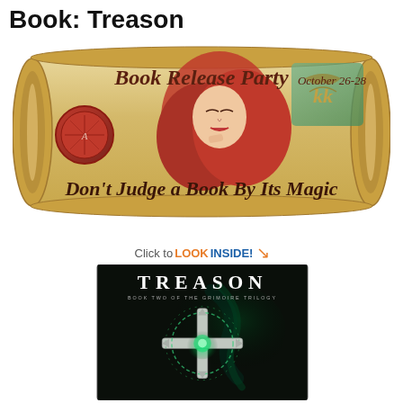Book: Treason
[Figure (illustration): Book release party banner on a scroll-style parchment background. Features a woman with red hair, a red wax seal on the left, decorative initials 'kk' on the right, and text reading 'Book Release Party October 26-28' and 'Don't Judge a Book By Its Magic']
[Figure (illustration): Book cover for 'TREASON: Book Two of the Grimoire Trilogy' with a dark background featuring a glowing green cross/compass symbol with swirling smoke. Has 'Click to LOOK INSIDE!' label with an orange arrow.]